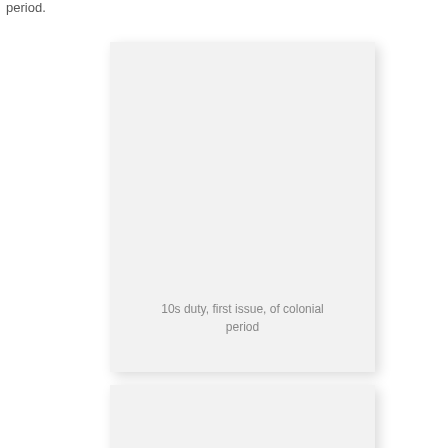period.
[Figure (photo): A light gray rectangular card or stamp image, mostly blank/empty, with caption text at bottom center reading '10s duty, first issue, of colonial period']
10s duty, first issue, of colonial period
[Figure (photo): A second light gray rectangular card or stamp image, partially visible at bottom of page, mostly blank/empty]